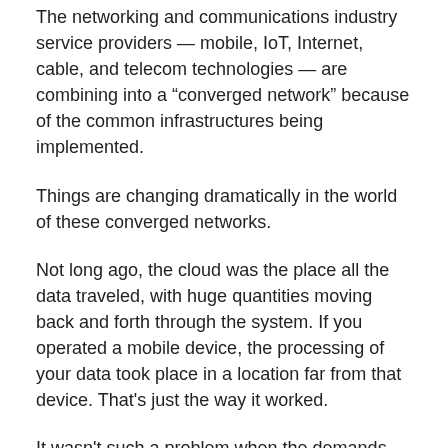The networking and communications industry service providers — mobile, IoT, Internet, cable, and telecom technologies — are combining into a “converged network” because of the common infrastructures being implemented.
Things are changing dramatically in the world of these converged networks.
Not long ago, the cloud was the place all the data traveled, with huge quantities moving back and forth through the system. If you operated a mobile device, the processing of your data took place in a location far from that device. That's just the way it worked.
It wasn't such a problem when the demands were smaller and more manageable. The various operations worked fairly well, for the most part. But today's requirements make the device-to-cloud setup increasingly inadequate, the remnant of a fast-disappearing era.